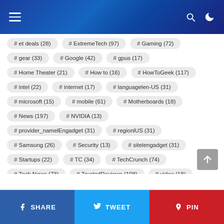Navigation header with menu, search, and dark mode icons
# et deals (28)
# ExtremeTech (97)
# Gaming (72)
# gear (33)
# Google (42)
# gpus (17)
# Home Theater (21)
# How to (16)
# HowToGeek (117)
# intel (22)
# internet (17)
# languagelen-US (31)
# microsoft (15)
# mobile (61)
# Motherboards (18)
# News (197)
# NVIDIA (13)
# provider_namelEngadget (31)
# regionlUS (31)
# Samsung (26)
# Security (13)
# sitelengadget (31)
# Startups (22)
# TC (34)
# TechCrunch (74)
# Tech News (73)
# TrustedReviews (108)
# video (18)
# Videos (17)
# ZDNet (17)
SHARE  TWEET  PIN